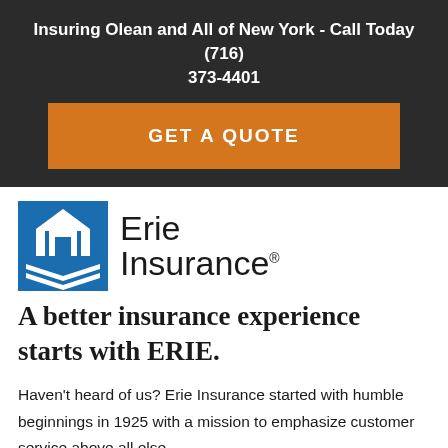Insuring Olean and All of New York - Call Today (716) 373-4401
GET A QUOTE
[Figure (logo): Erie Insurance logo with blue building/chevron graphic and 'Erie Insurance' text]
A better insurance experience starts with ERIE.
Haven't heard of us? Erie Insurance started with humble beginnings in 1925 with a mission to emphasize customer service above all else.